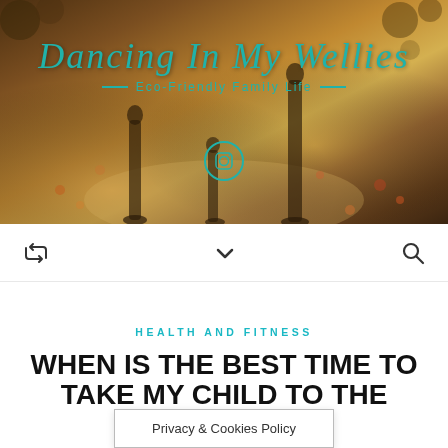[Figure (photo): Header photo showing shadows of a family (adults and child) on an autumn path with fallen leaves, warm brown/golden tones]
Dancing In My Wellies
— Eco-Friendly Family Life —
Navigation bar with retweet icon, chevron/menu, and search icon
HEALTH AND FITNESS
WHEN IS THE BEST TIME TO TAKE MY CHILD TO THE
Privacy & Cookies Policy